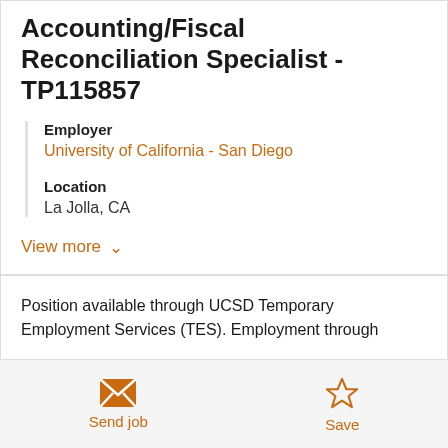Accounting/Fiscal Reconciliation Specialist - TP115857
Employer
University of California - San Diego
Location
La Jolla, CA
View more
Position available through UCSD Temporary Employment Services (TES). Employment through
Send job
Save